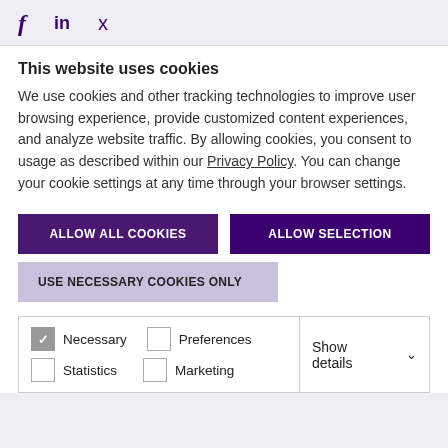f  in  🐦
This website uses cookies
We use cookies and other tracking technologies to improve user browsing experience, provide customized content experiences, and analyze website traffic. By allowing cookies, you consent to usage as described within our Privacy Policy. You can change your cookie settings at any time through your browser settings.
ALLOW ALL COOKIES
ALLOW SELECTION
USE NECESSARY COOKIES ONLY
| Options | Action |
| --- | --- |
| Necessary  Preferences  Statistics  Marketing | Show details |